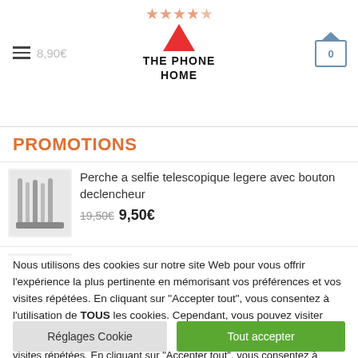[Figure (screenshot): Website header for 'The Phone Home' with hamburger menu, star rating, price 8,90€, logo with red triangle, and shopping cart icon showing 0]
PROMOTIONS
[Figure (photo): Product image: selfie stick telescopic set]
Perche a selfie telescopique legere avec bouton declencheur
19,50€  9,50€
[Figure (photo): Product image: Samsung Galaxy S7 Edge tempered glass lot]
Lot de 2: verre trempé 3D extra résistant GlassPro® pour Samsung Galaxy S7 Edge(cadre
Nous utilisons des cookies sur notre site Web pour vous offrir l'expérience la plus pertinente en mémorisant vos préférences et vos visites répétées. En cliquant sur "Accepter tout", vous consentez à l'utilisation de TOUS les cookies. Cependant, vous pouvez visiter "Paramètres des cookies" pour fournir un consentement contrôlé.
Réglages Cookie
Tout accepter